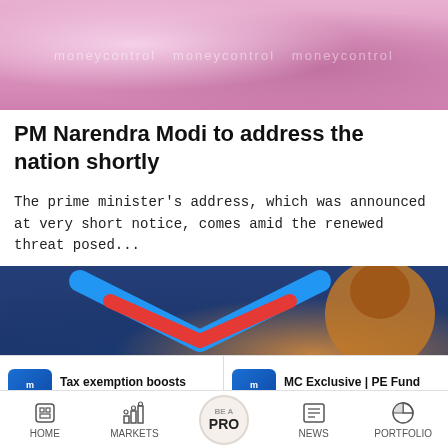[Figure (photo): Top image showing a person in colorful attire, with watermark text 'moneycontrol' repeated]
PM Narendra Modi to address the nation shortly
The prime minister's address, which was announced at very short notice, comes amid the renewed threat posed...
[Figure (photo): Image showing a blue and red chevron/arrow logo and a man's face in the foreground]
Tax exemption boosts luxury home sales
MC Exclusive | PE Fund True North launches
HOME  MARKETS  BE A PRO  NEWS  PORTFOLIO